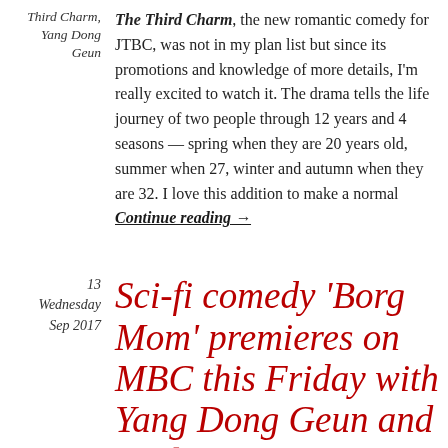Third Charm, Yang Dong Geun
The Third Charm, the new romantic comedy for JTBC, was not in my plan list but since its promotions and knowledge of more details, I'm really excited to watch it. The drama tells the life journey of two people through 12 years and 4 seasons — spring when they are 20 years old, summer when 27, winter and autumn when they are 32. I love this addition to make a normal Continue reading →
13
Wednesday
Sep 2017
Sci-fi comedy 'Borg Mom' premieres on MBC this Friday with Yang Dong Geun and Park Han